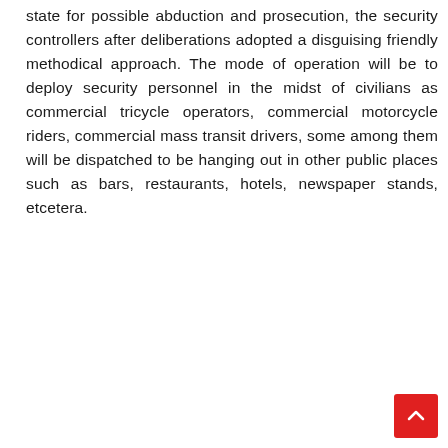state for possible abduction and prosecution, the security controllers after deliberations adopted a disguising friendly methodical approach. The mode of operation will be to deploy security personnel in the midst of civilians as commercial tricycle operators, commercial motorcycle riders, commercial mass transit drivers, some among them will be dispatched to be hanging out in other public places such as bars, restaurants, hotels, newspaper stands, etcetera.